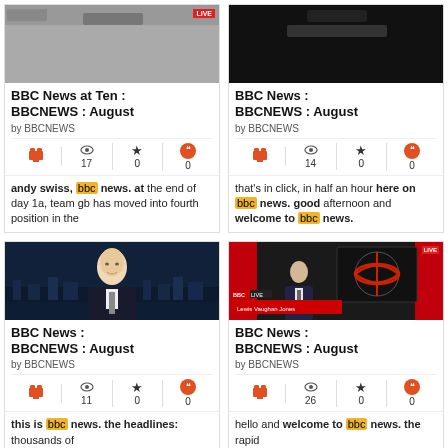[Figure (screenshot): BBC News at Ten thumbnail - partial top of image shown]
BBC News at Ten : BBCNEWS : August
by BBCNEWS
17 views, 0 favorites, 0 quotes
andy swiss, bbc news. at the end of day 1a, team gb has moved into fourth position in the
[Figure (screenshot): BBC News thumbnail - partial top of image shown]
BBC News : BBCNEWS : August
by BBCNEWS
14 views, 0 favorites, 0 quotes
that's in click, in half an hour here on bbc news. good afternoon and welcome to bbc news.
[Figure (photo): BBC News presenter - bald man in dark suit against night city skyline backdrop]
BBC News : BBCNEWS : August
by BBCNEWS
11 views, 0 favorites, 0 quotes
this is bbc news. the headlines: thousands of
[Figure (photo): BBC News studio with presenter Lewis Vaughan Jones and BBC globe logo on screen]
BBC News : BBCNEWS : August
by BBCNEWS
26 views, 0 favorites, 0 quotes
hello and welcome to bbc news. the rapid